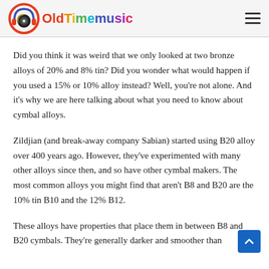OldTimemusic
Did you think it was weird that we only looked at two bronze alloys of 20% and 8% tin? Did you wonder what would happen if you used a 15% or 10% alloy instead? Well, you're not alone. And it's why we are here talking about what you need to know about cymbal alloys.
Zildjian (and break-away company Sabian) started using B20 alloy over 400 years ago. However, they've experimented with many other alloys since then, and so have other cymbal makers. The most common alloys you might find that aren't B8 and B20 are the 10% tin B10 and the 12% B12.
These alloys have properties that place them in between B8 and B20 cymbals. They're generally darker and smoother than